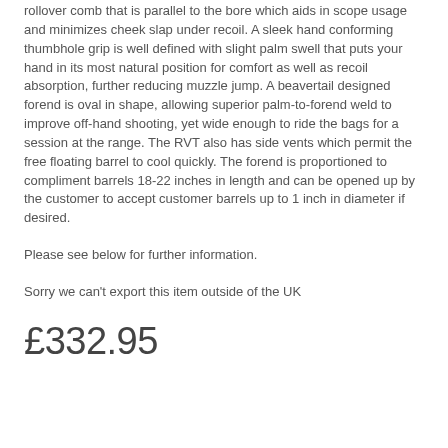rollover comb that is parallel to the bore which aids in scope usage and minimizes cheek slap under recoil. A sleek hand conforming thumbhole grip is well defined with slight palm swell that puts your hand in its most natural position for comfort as well as recoil absorption, further reducing muzzle jump. A beavertail designed forend is oval in shape, allowing superior palm-to-forend weld to improve off-hand shooting, yet wide enough to ride the bags for a session at the range. The RVT also has side vents which permit the free floating barrel to cool quickly. The forend is proportioned to compliment barrels 18-22 inches in length and can be opened up by the customer to accept customer barrels up to 1 inch in diameter if desired.
Please see below for further information.
Sorry we can't export this item outside of the UK
£332.95